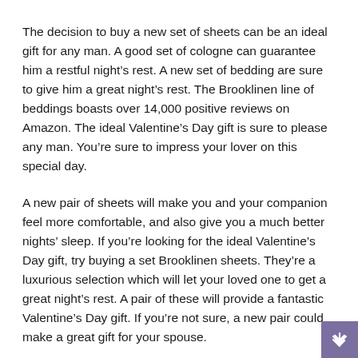The decision to buy a new set of sheets can be an ideal gift for any man. A good set of cologne can guarantee him a restful night's rest. A new set of bedding are sure to give him a great night's rest. The Brooklinen line of beddings boasts over 14,000 positive reviews on Amazon. The ideal Valentine's Day gift is sure to please any man. You're sure to impress your lover on this special day.
A new pair of sheets will make you and your companion feel more comfortable, and also give you a much better nights' sleep. If you're looking for the ideal Valentine's Day gift, try buying a set Brooklinen sheets. They're a luxurious selection which will let your loved one to get a great night's rest. A pair of these will provide a fantastic Valentine's Day gift. If you're not sure, a new pair could make a great gift for your spouse.